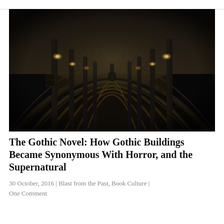[Figure (photo): Black and white photograph of a Gothic cathedral corridor with ribbed vaulted ceiling arches, stone columns, and a solitary figure walking away in the distance toward a bright light source. The perspective creates a dramatic tunnel effect with the arches receding into the background.]
The Gothic Novel: How Gothic Buildings Became Synonymous With Horror, and the Supernatural
30 October, 2016 | Blast from the Past, Book Culture | One Comment